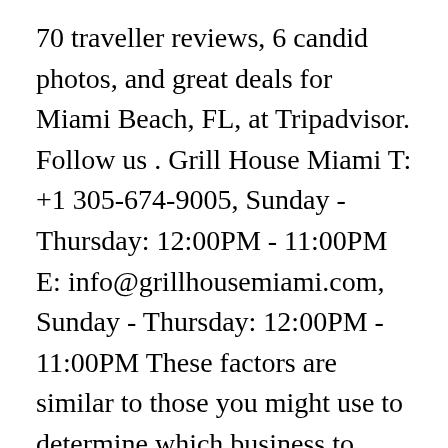70 traveller reviews, 6 candid photos, and great deals for Miami Beach, FL, at Tripadvisor. Follow us . Grill House Miami T: +1 305-674-9005, Sunday - Thursday: 12:00PM - 11:00PM E: info@grillhousemiami.com, Sunday - Thursday: 12:00PM - 11:00PM These factors are similar to those you might use to determine which business to select from a local ... The decor, service, and food was excellent. 45 minutes later, they called me and told me that they are going to make me pay for it. Dining “Al Fresco” is an option. User Reviews for Grill House, Miami Beach, Miami; Grill House Reviews; Grill House, Miami restaurant reviews on Zomato Serves Middle Eastern, Steak. wine